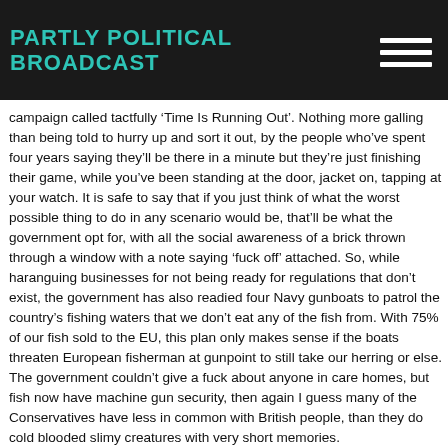PARTLY POLITICAL BROADCAST
campaign called tactfully ‘Time Is Running Out’. Nothing more galling than being told to hurry up and sort it out, by the people who’ve spent four years saying they’ll be there in a minute but they’re just finishing their game, while you’ve been standing at the door, jacket on, tapping at your watch. It is safe to say that if you just think of what the worst possible thing to do in any scenario would be, that’ll be what the government opt for, with all the social awareness of a brick thrown through a window with a note saying ‘fuck off’ attached. So, while haranguing businesses for not being ready for regulations that don’t exist, the government has also readied four Navy gunboats to patrol the country’s fishing waters that we don’t eat any of the fish from. With 75% of our fish sold to the EU, this plan only makes sense if the boats threaten European fisherman at gunpoint to still take our herring or else. The government couldn’t give a fuck about anyone in care homes, but fish now have machine gun security, then again I guess many of the Conservatives have less in common with British people, than they do cold blooded slimy creatures with very short memories.